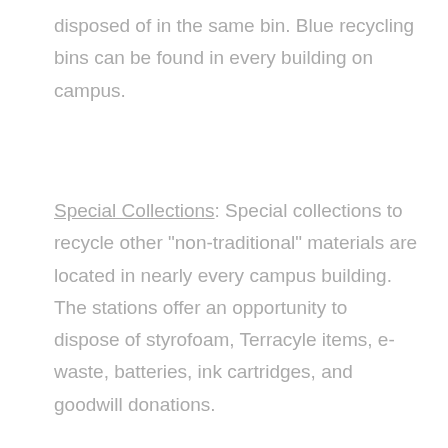disposed of in the same bin. Blue recycling bins can be found in every building on campus.
Special Collections: Special collections to recycle other "non-traditional" materials are located in nearly every campus building. The stations offer an opportunity to dispose of styrofoam, Terracyle items, e-waste, batteries, ink cartridges, and goodwill donations.